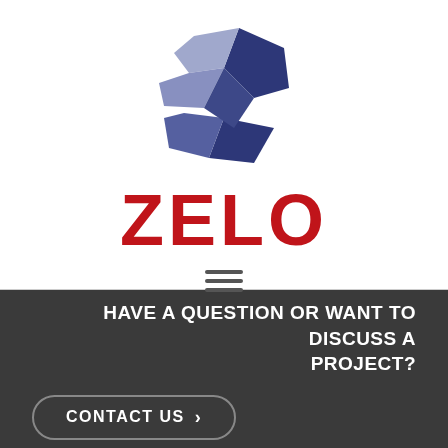[Figure (logo): ZELO company logo consisting of a geometric diamond/crystal shape made of dark blue, medium blue, and light lavender triangular facets arranged in a Z-shape, above large red bold text 'ZELO']
[Figure (other): Hamburger menu icon with three horizontal lines]
HAVE A QUESTION OR WANT TO DISCUSS A PROJECT?
CONTACT US >